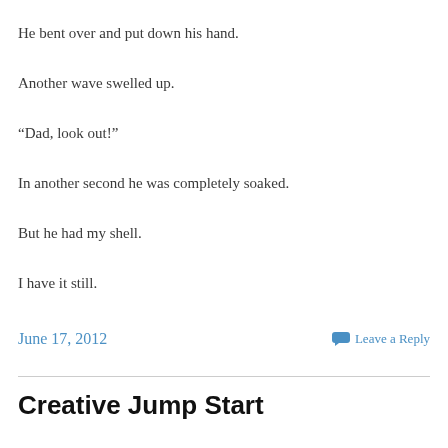He bent over and put down his hand.
Another wave swelled up.
“Dad, look out!”
In another second he was completely soaked.
But he had my shell.
I have it still.
June 17, 2012    Leave a Reply
Creative Jump Start